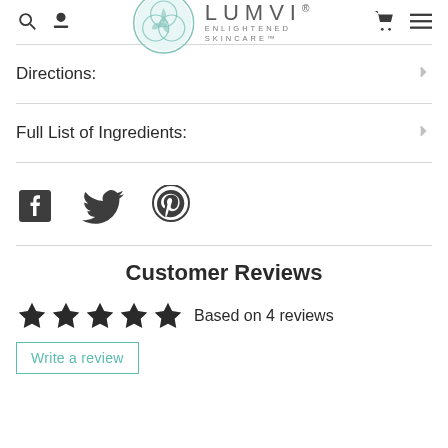LUMVI ENLIGHTENED SKINCARE™
Directions:
Full List of Ingredients:
[Figure (other): Social media icons: Facebook, Twitter, Pinterest]
Customer Reviews
Based on 4 reviews  Write a review